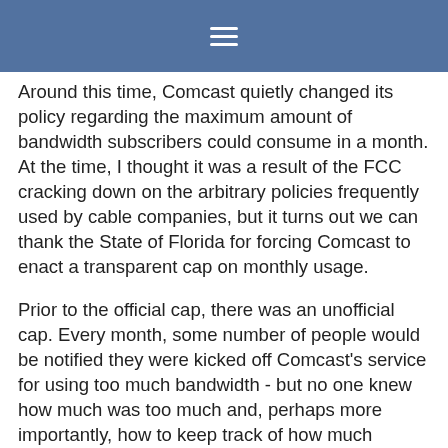≡
Around this time, Comcast quietly changed its policy regarding the maximum amount of bandwidth subscribers could consume in a month. At the time, I thought it was a result of the FCC cracking down on the arbitrary policies frequently used by cable companies, but it turns out we can thank the State of Florida for forcing Comcast to enact a transparent cap on monthly usage.
Prior to the official cap, there was an unofficial cap. Every month, some number of people would be notified they were kicked off Comcast's service for using too much bandwidth - but no one knew how much was too much and, perhaps more importantly, how to keep track of how much bandwidth they were using. Discussions on geek-hangout Slashdot suggested a monthly cap of between 100 Gigabytes and 300 Gigabytes depending on the neighborhood. There was no limit